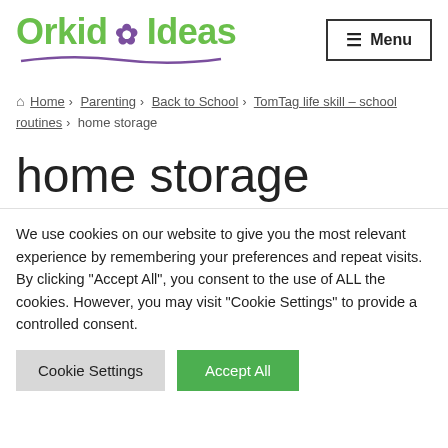Orkid Ideas — Menu
Home › Parenting › Back to School › TomTag life skill – school routines › home storage
home storage
We use cookies on our website to give you the most relevant experience by remembering your preferences and repeat visits. By clicking "Accept All", you consent to the use of ALL the cookies. However, you may visit "Cookie Settings" to provide a controlled consent.